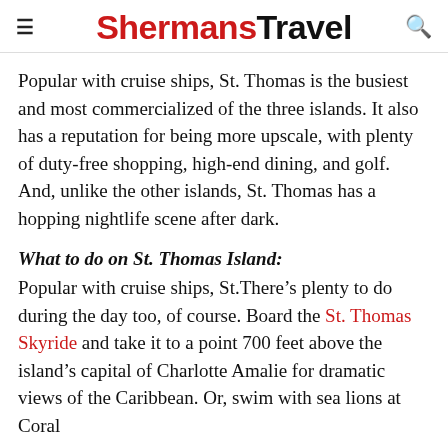ShermansTravel
Popular with cruise ships, St. Thomas is the busiest and most commercialized of the three islands. It also has a reputation for being more upscale, with plenty of duty-free shopping, high-end dining, and golf. And, unlike the other islands, St. Thomas has a hopping nightlife scene after dark.
What to do on St. Thomas Island:
Popular with cruise ships, St.There’s plenty to do during the day too, of course. Board the St. Thomas Skyride and take it to a point 700 feet above the island’s capital of Charlotte Amalie for dramatic views of the Caribbean. Or, swim with sea lions at Coral